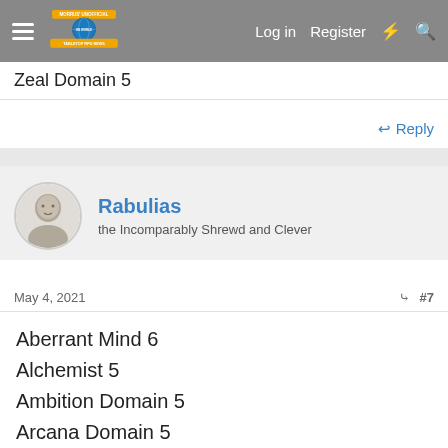Morrus' Unofficial Tabletop RPG News — Log in | Register
Zeal Domain 5
↩ Reply
Rabulias
the Incomparably Shrewd and Clever
May 4, 2021  #7
Aberrant Mind 6
Alchemist 5
Ambition Domain 5
Arcana Domain 5
Arcane Archer 5
Arcane Trickster 5
Armorer 5
Artillerist 5